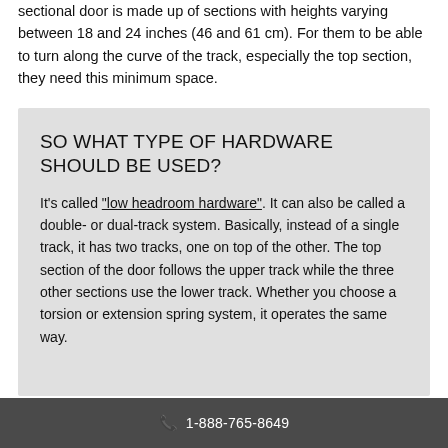sectional door is made up of sections with heights varying between 18 and 24 inches (46 and 61 cm). For them to be able to turn along the curve of the track, especially the top section, they need this minimum space.
SO WHAT TYPE OF HARDWARE SHOULD BE USED?
It's called "low headroom hardware". It can also be called a double- or dual-track system. Basically, instead of a single track, it has two tracks, one on top of the other. The top section of the door follows the upper track while the three other sections use the lower track. Whether you choose a torsion or extension spring system, it operates the same way.
1-888-765-8649